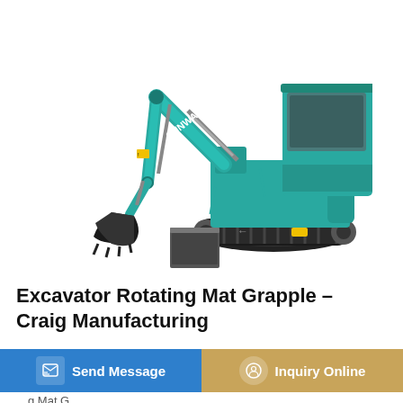[Figure (photo): A teal/turquoise Sunward mini excavator with a bucket attachment and dozer blade, shown on a white background.]
Excavator Rotating Mat Grapple – Craig Manufacturing
Send Message
Inquiry Online
Mat G